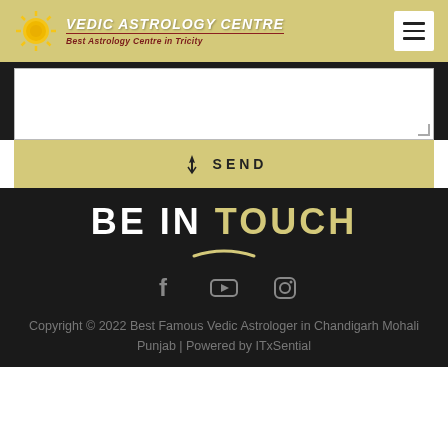Vedic Astrology Centre — Best Astrology Centre in Tricity
[Figure (screenshot): Textarea input field (white box, partially visible)]
SEND
BE IN TOUCH
[Figure (infographic): Social media icons: Facebook, YouTube, Instagram]
Copyright © 2022 Best Famous Vedic Astrologer in Chandigarh Mohali Punjab | Powered by ITxSential